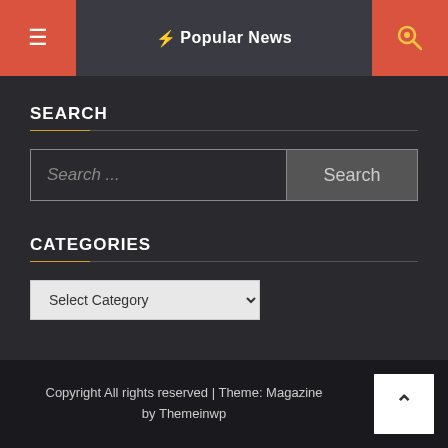[Figure (screenshot): Website header bar with hamburger menu icon on left (red background), 'Popular News' title in center (dark background), and search icon on right (red background)]
SEARCH
[Figure (screenshot): Search input field with placeholder 'Search ...' and a 'Search' button on the right]
CATEGORIES
[Figure (screenshot): Dropdown select element with 'Select Category' placeholder]
Copyright All rights reserved | Theme: Magazine by Themeinwp